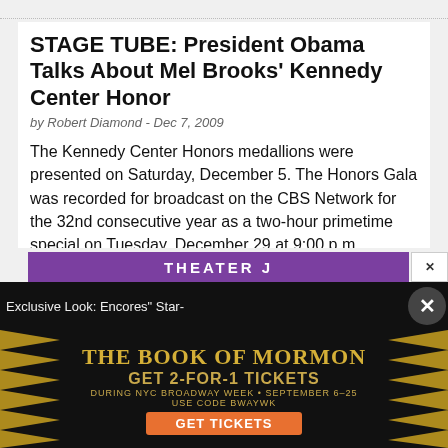STAGE TUBE: President Obama Talks About Mel Brooks' Kennedy Center Honor
by Robert Diamond - Dec 7, 2009
The Kennedy Center Honors medallions were presented on Saturday, December 5. The Honors Gala was recorded for broadcast on the CBS Network for the 32nd consecutive year as a two-hour primetime special on Tuesday, December 29 at 9:00 p.m. (ET/PT).
[Figure (other): More Video button (red rectangle with white bold text)]
[Figure (other): Advertisement banner for The Book of Mormon - GET 2-FOR-1 TICKETS DURING NYC BROADWAY WEEK · SEPTEMBER 6-25 USE CODE BWAYWK GET TICKETS. Notification bar: Exclusive Look: Encores' Star-. Theater bar with purple background showing THEATER J text and close button.]